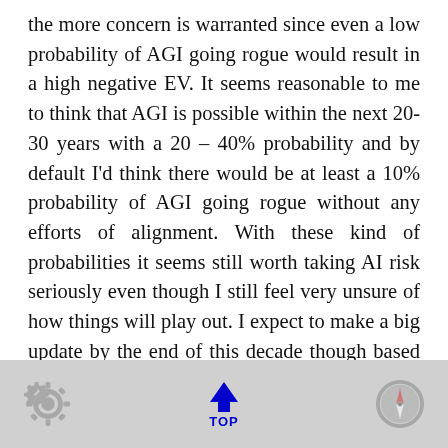the more concern is warranted since even a low probability of AGI going rogue would result in a high negative EV. It seems reasonable to me to think that AGI is possible within the next 20-30 years with a 20 – 40% probability and by default I'd think there would be at least a 10% probability of AGI going rogue without any efforts of alignment. With these kind of probabilities it seems still worth taking AI risk seriously even though I still feel very unsure of how things will play out. I expect to make a big update by the end of this decade though based on the type of algorithmic breakthroughs made in the next few years.
TOP